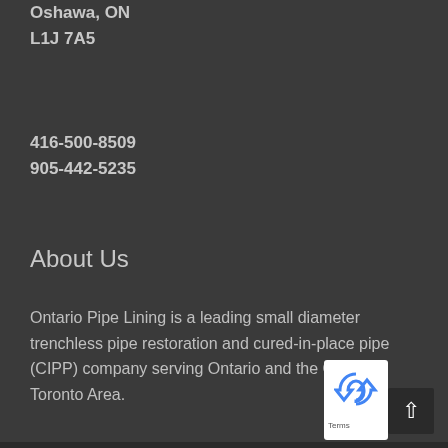1200 Terwillegar Ave
Oshawa, ON
L1J 7A5
416-500-8509
905-442-5235
About Us
Ontario Pipe Lining is a leading small diameter trenchless pipe restoration and cured-in-place pipe (CIPP) company serving Ontario and the Greater Toronto Area.
[Figure (other): Back-to-top button (dark square with upward arrow) and partial reCAPTCHA widget visible in bottom-right corner]